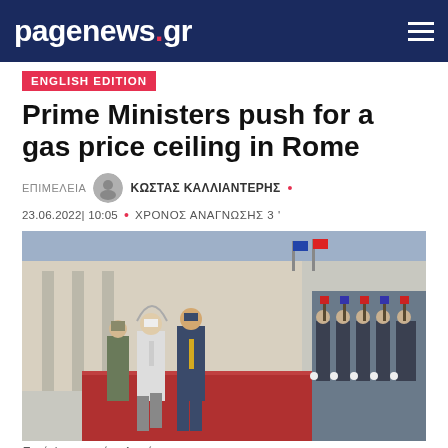pagenews.gr
ENGLISH EDITION
Prime Ministers push for a gas price ceiling in Rome
ΕΠΙΜΕΛΕΙΑ  ΚΩΣΤΑΣ ΚΑΛΛΙΑΝΤΕΡΗΣ •
23.06.2022 | 10:05 • ΧΡΟΝΟΣ ΑΝΑΓΝΩΣΗΣ 3 '
[Figure (photo): Two men in suits walking on a red carpet during a formal reception, with a row of uniformed guards standing at attention on the right side. The scene appears to be at an official government building in Rome.]
Πηγή Φωτογραφίας: Αρχείου